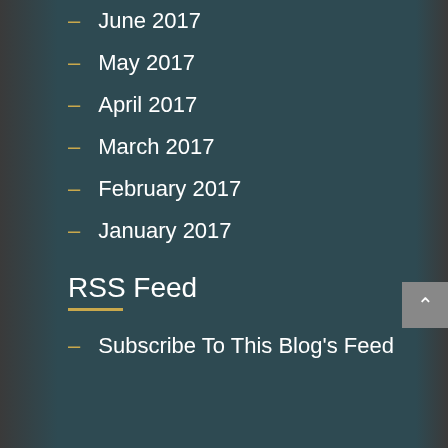– June 2017
– May 2017
– April 2017
– March 2017
– February 2017
– January 2017
RSS Feed
– Subscribe To This Blog's Feed